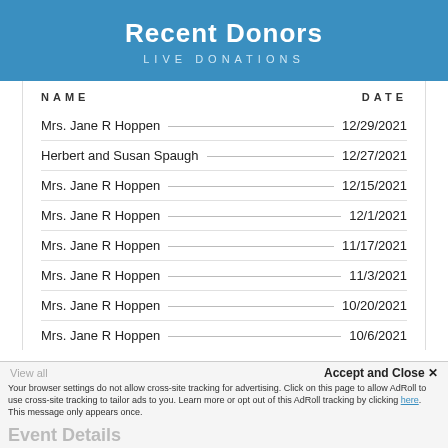Recent Donors
LIVE DONATIONS
| NAME | DATE |
| --- | --- |
| Mrs. Jane R Hoppen | 12/29/2021 |
| Herbert and Susan Spaugh | 12/27/2021 |
| Mrs. Jane R Hoppen | 12/15/2021 |
| Mrs. Jane R Hoppen | 12/1/2021 |
| Mrs. Jane R Hoppen | 11/17/2021 |
| Mrs. Jane R Hoppen | 11/3/2021 |
| Mrs. Jane R Hoppen | 10/20/2021 |
| Mrs. Jane R Hoppen | 10/6/2021 |
Accept and Close ✕ Your browser settings do not allow cross-site tracking for advertising. Click on this page to allow AdRoll to use cross-site tracking to tailor ads to you. Learn more or opt out of this AdRoll tracking by clicking here. This message only appears once.